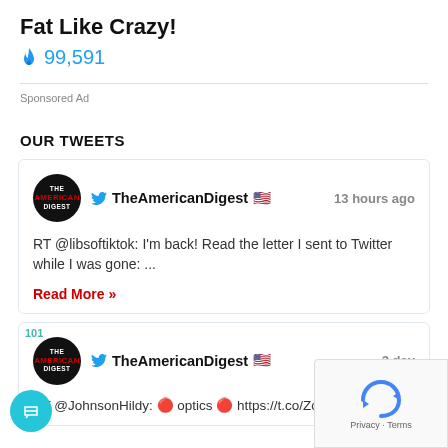Fat Like Crazy!
🔥 99,591
Sponsored Ad
OUR TWEETS
TheAmericanDigest 🇺🇸   13 hours ago
RT @libsoftiktok: I'm back! Read the letter I sent to Twitter while I was gone: ...
Read More »
TheAmericanDigest 🇺🇸   3 day
RT @JohnsonHildy: 🔴 optics 🔴 https://t.co/Zc2bYeaAws